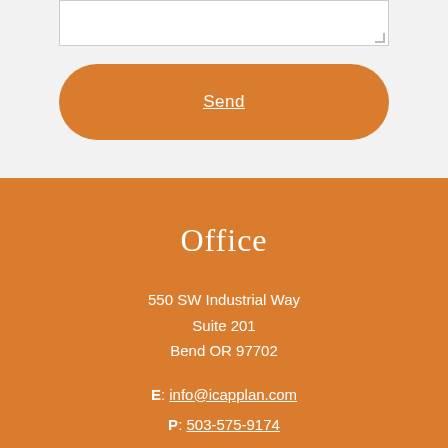[Figure (screenshot): Textarea input box (partial, top of form)]
Send
Office
550 SW Industrial Way
Suite 201
Bend OR 97702
E: info@icapplan.com
P: 503-575-9174